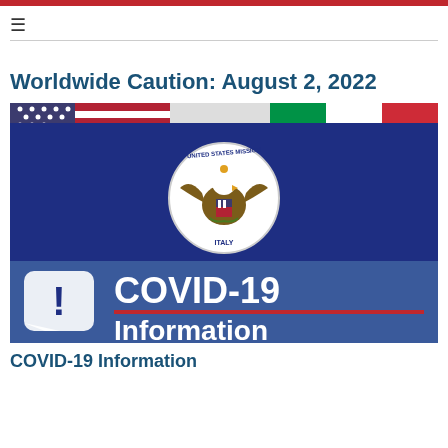Worldwide Caution: August 2, 2022
[Figure (illustration): United States Mission Italy seal on blue banner with COVID-19 Information text and exclamation icon, with US and Italian flags in background]
COVID-19 Information